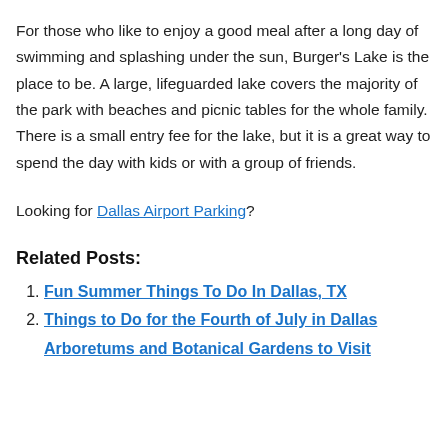For those who like to enjoy a good meal after a long day of swimming and splashing under the sun, Burger's Lake is the place to be. A large, lifeguarded lake covers the majority of the park with beaches and picnic tables for the whole family. There is a small entry fee for the lake, but it is a great way to spend the day with kids or with a group of friends.
Looking for Dallas Airport Parking?
Related Posts:
Fun Summer Things To Do In Dallas, TX
Things to Do for the Fourth of July in Dallas
Arboretums and Botanical Gardens to Visit